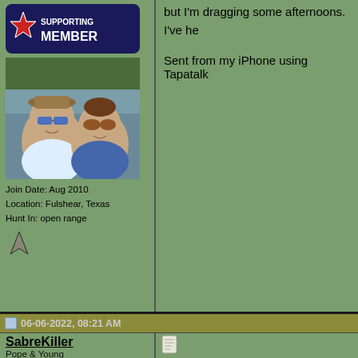but I'm dragging some afternoons. I've he
Sent from my iPhone using Tapatalk
[Figure (photo): Supporting Member badge/logo with Texas flag star design]
[Figure (photo): Profile photo of a man and woman wearing sunglasses on a boat]
Join Date: Aug 2010
Location: Fulshear, Texas
Hunt In: open range
[Figure (illustration): Small arrowhead/hunting icon]
06-06-2022, 08:21 AM
SabreKiller
Pope & Young
[Figure (photo): Profile photo of outdoor/hunting scene]
[Figure (illustration): Small document/page icon]
Quote:
Originally Posted by rtp
week 3 of 16 in the books. For you gu taking before hitting the gym?